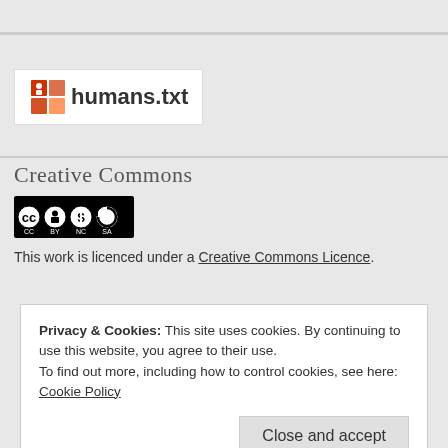[Figure (logo): humans.txt logo with orange/red cube icon and text 'humans.txt']
Creative Commons
[Figure (logo): Creative Commons BY NC SA license badge with CC, person, dollar-circle, and refresh-circle icons]
This work is licenced under a Creative Commons Licence.
Privacy & Cookies: This site uses cookies. By continuing to use this website, you agree to their use.
To find out more, including how to control cookies, see here: Cookie Policy
Close and accept